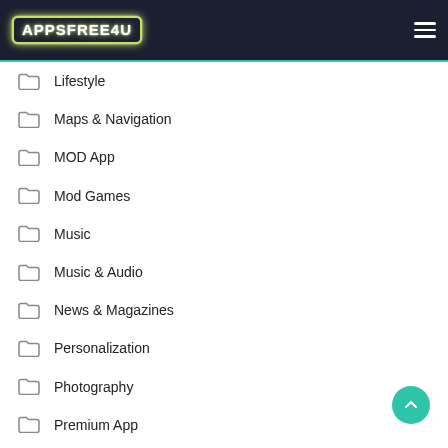APPSFREE4U
Lifestyle
Maps & Navigation
MOD App
Mod Games
Music
Music & Audio
News & Magazines
Personalization
Photography
Premium App
premium Games